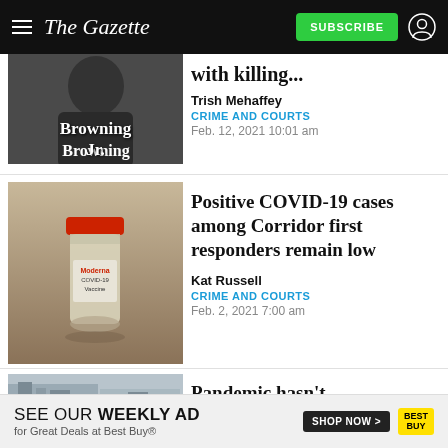The Gazette — SUBSCRIBE
[Figure (photo): Photo of a man (Browning Jr.) with text overlay]
with killing...
Trish Mehaffey
CRIME AND COURTS
Feb. 12, 2021 10:01 am
[Figure (photo): Photo of Moderna COVID-19 Vaccine vial]
Positive COVID-19 cases among Corridor first responders remain low
Kat Russell
CRIME AND COURTS
Feb. 2, 2021 7:00 am
[Figure (photo): Partially visible photo of a building]
Pandemic hasn't
SEE OUR WEEKLY AD for Great Deals at Best Buy® SHOP NOW >